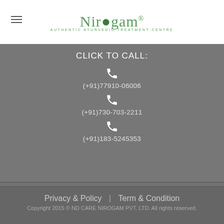[Figure (logo): Nirogam logo with tagline AUTHENTIC AYURVEDIC TREATMENT CENTRE]
CLICK TO CALL:
(+91)77910-06006
(+91)730-703-2211
(+91)183-5245353
info@ndayurveda.com
care@ndayurveda.com
Privacy & Policy  |  Term & Condition
Copyright 2015 © ND CARE NIROGAM PVT. LTD. All rights reserved.